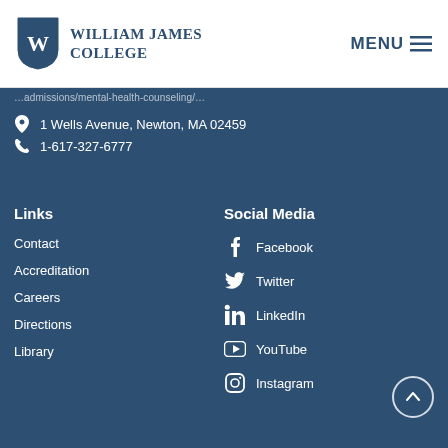William James College — MENU
1 Wells Avenue, Newton, MA 02459
1-617-327-6777
Links
Contact
Accreditation
Careers
Directions
Library
Social Media
Facebook
Twitter
LinkedIn
YouTube
Instagram